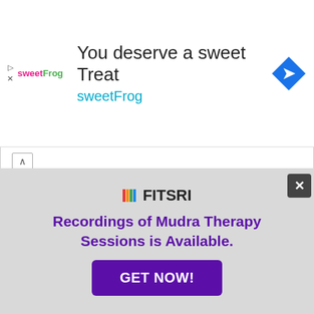[Figure (screenshot): sweetFrog advertisement banner with logo, title 'You deserve a sweet Treat', subtitle 'sweetFrog', and a blue diamond navigation icon]
...er the windpipe, which could stop breathing for some period of time. Therefore, it is advisable to avoid it in that condition.
[Figure (photo): DON'T MISS OUT! banner with olive/khaki background, partially visible hand image]
[Figure (infographic): FITSRI popup overlay with text 'Recordings of Mudra Therapy Sessions is Available.' and GET NOW! button]